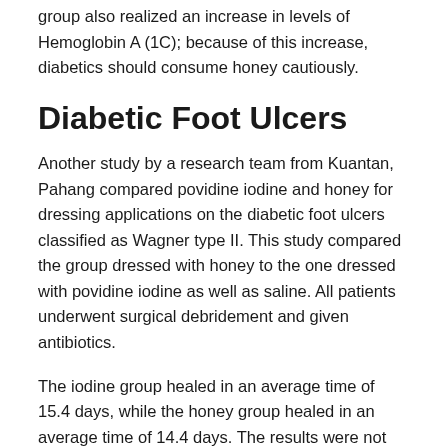group also realized an increase in levels of Hemoglobin A (1C); because of this increase, diabetics should consume honey cautiously.
Diabetic Foot Ulcers
Another study by a research team from Kuantan, Pahang compared povidine iodine and honey for dressing applications on the diabetic foot ulcers classified as Wagner type II. This study compared the group dressed with honey to the one dressed with povidine iodine as well as saline. All patients underwent surgical debridement and given antibiotics.
The iodine group healed in an average time of 15.4 days, while the honey group healed in an average time of 14.4 days. The results were not conclusive enough to recommend honey over povidine iodine. However, the results do show that honey is a valid alternative dressing